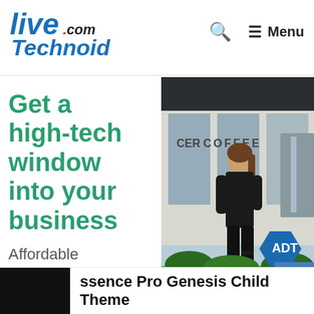LiveTechnoid.com — Menu
[Figure (infographic): ADT business security advertisement. Left side: green headline 'Get a high-tech window into your business', subtext 'Affordable security solutions', and a 'GET OFFER' button. Right side: photo of woman walking outside a coffee shop with ADT Business logo badge.]
ssence Pro Genesis Child Theme